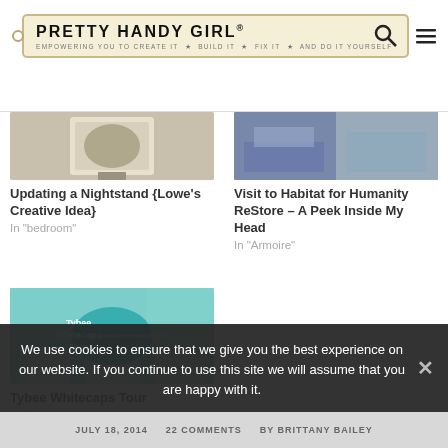[Figure (logo): Pretty Handy Girl logo with tagline: Empowering you to create it, build it, fix it, and do it yourself]
Updating a Nightstand {Lowe's Creative Idea}
In "bedroom"
[Figure (photo): Photo of a nightstand update project]
Visit to Habitat for Humanity ReStore – A Peek Inside My Head
In "Armoire"
[Figure (photo): Photo of Habitat for Humanity ReStore]
[Figure (photo): Tybee Whitecaps Tour interior bathroom photo with teal oval badge]
Tybee Whitecaps Tour
In "Beach"
We use cookies to ensure that we give you the best experience on our website. If you continue to use this site we will assume that you are happy with it.
JULY 18, 2014   22 COMMENTS   BY BRITTANY BAILEY